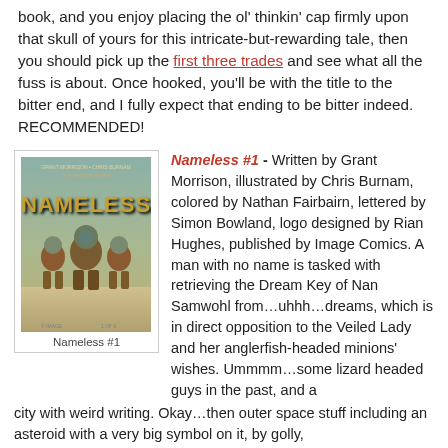book, and you enjoy placing the ol' thinkin' cap firmly upon that skull of yours for this intricate-but-rewarding tale, then you should pick up the first three trades and see what all the fuss is about. Once hooked, you'll be with the title to the bitter end, and I fully expect that ending to be bitter indeed. RECOMMENDED!
[Figure (illustration): Cover of Nameless #1 comic book showing three astronaut-suited figures walking, with stylized title text 'NAMELESS']
Nameless #1
Nameless #1 - Written by Grant Morrison, illustrated by Chris Burnam, colored by Nathan Fairbairn, lettered by Simon Bowland, logo designed by Rian Hughes, published by Image Comics. A man with no name is tasked with retrieving the Dream Key of Nan Samwohl from…uhhh…dreams, which is in direct opposition to the Veiled Lady and her anglerfish-headed minions' wishes. Ummmm…some lizard headed guys in the past, and a city with weird writing. Okay…then outer space stuff including an asteroid with a very big symbol on it, by golly,